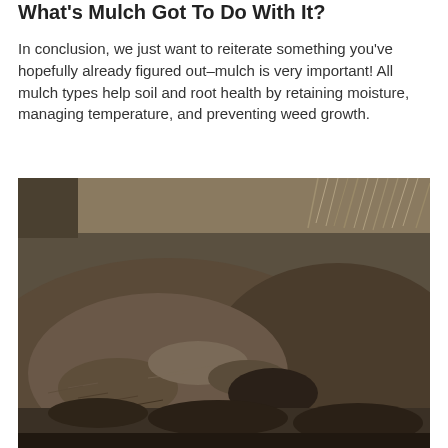What's Mulch Got To Do With It?
In conclusion, we just want to reiterate something you've hopefully already figured out–mulch is very important! All mulch types help soil and root health by retaining moisture, managing temperature, and preventing weed growth.
[Figure (photo): A large mound of dark brown mulch/soil piled up, with dry grass or hay visible in the background at the top of the image. The mulch appears freshly deposited and has a rough, textured surface.]